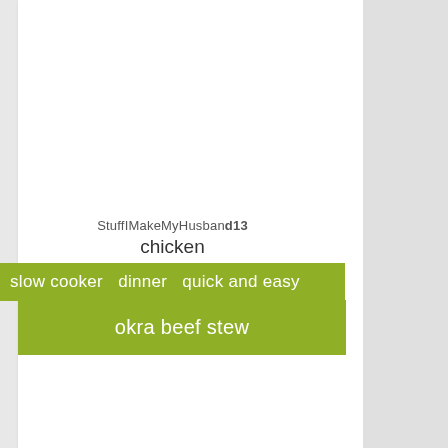StuffIMakeMyHusband13
chicken
slow cooker  dinner  quick and easy
okra beef stew